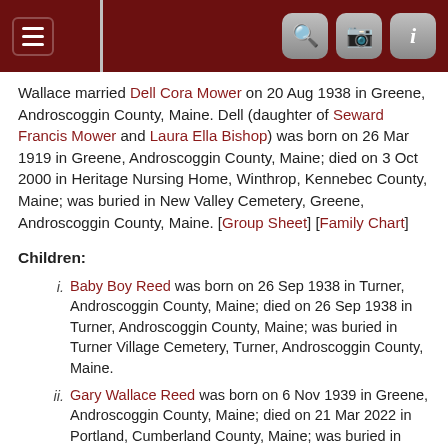Navigation header with hamburger menu, search, camera, and info icons
Wallace married Dell Cora Mower on 20 Aug 1938 in Greene, Androscoggin County, Maine. Dell (daughter of Seward Francis Mower and Laura Ella Bishop) was born on 26 Mar 1919 in Greene, Androscoggin County, Maine; died on 3 Oct 2000 in Heritage Nursing Home, Winthrop, Kennebec County, Maine; was buried in New Valley Cemetery, Greene, Androscoggin County, Maine. [Group Sheet] [Family Chart]
Children:
Baby Boy Reed was born on 26 Sep 1938 in Turner, Androscoggin County, Maine; died on 26 Sep 1938 in Turner, Androscoggin County, Maine; was buried in Turner Village Cemetery, Turner, Androscoggin County, Maine.
Gary Wallace Reed was born on 6 Nov 1939 in Greene, Androscoggin County, Maine; died on 21 Mar 2022 in Portland, Cumberland County, Maine; was buried in Mount Auburn Cemetery, Auburn, Androscoggin County, Maine.
(Living) Reed